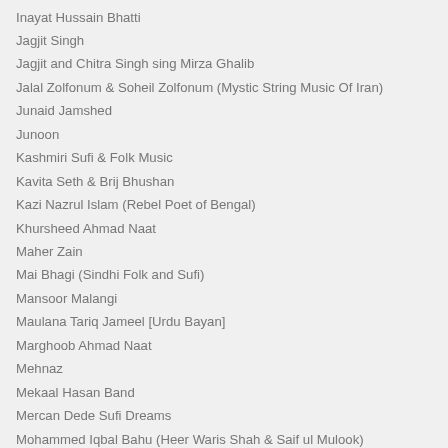Inayat Hussain Bhatti
Jagjit Singh
Jagjit and Chitra Singh sing Mirza Ghalib
Jalal Zolfonum & Soheil Zolfonum (Mystic String Music Of Iran)
Junaid Jamshed
Junoon
Kashmiri Sufi & Folk Music
Kavita Seth & Brij Bhushan
Kazi Nazrul Islam (Rebel Poet of Bengal)
Khursheed Ahmad Naat
Maher Zain
Mai Bhagi (Sindhi Folk and Sufi)
Mansoor Malangi
Maulana Tariq Jameel [Urdu Bayan]
Marghoob Ahmad Naat
Mehnaz
Mekaal Hasan Band
Mercan Dede Sufi Dreams
Mohammed Iqbal Bahu (Heer Waris Shah & Saif ul Mulook)